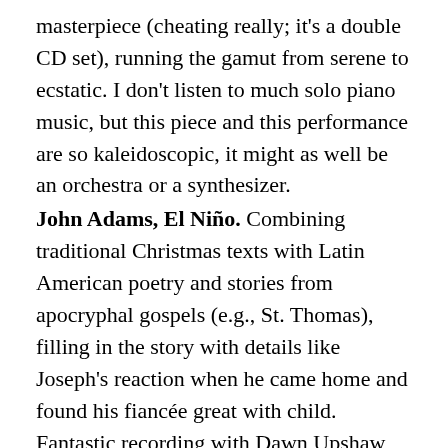masterpiece (cheating really; it's a double CD set), running the gamut from serene to ecstatic. I don't listen to much solo piano music, but this piece and this performance are so kaleidoscopic, it might as well be an orchestra or a synthesizer.
John Adams, El Niño. Combining traditional Christmas texts with Latin American poetry and stories from apocryphal gospels (e.g., St. Thomas), filling in the story with details like Joseph's reaction when he came home and found his fiancée great with child. Fantastic recording with Dawn Upshaw and the late Lorraine Hunt Lieberson.
Tallis Scholars, Christmas Carols and Motets. In Dulce Jubilo, Lo How a Rose E'er Blooming, and